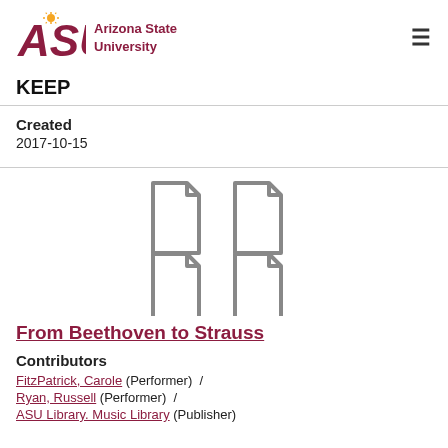[Figure (logo): Arizona State University logo with ASU abbreviation in maroon italic and 'Arizona State University' text]
KEEP
Created
2017-10-15
[Figure (illustration): Four document/file icons arranged in a 2x2 grid]
From Beethoven to Strauss
Contributors
FitzPatrick, Carole (Performer)  /
Ryan, Russell (Performer)  /
ASU Library. Music Library (Publisher)